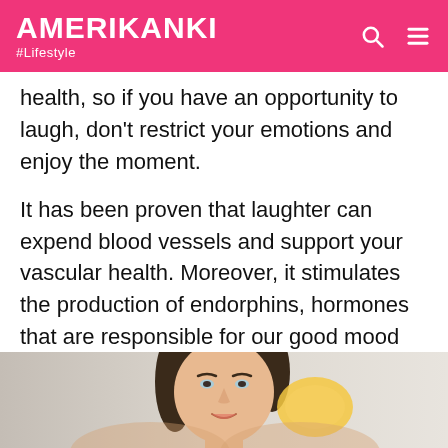AMERIKANKI #Lifestyle
health, so if you have an opportunity to laugh, don't restrict your emotions and enjoy the moment.
It has been proven that laughter can expend blood vessels and support your vascular health. Moreover, it stimulates the production of endorphins, hormones that are responsible for our good mood and bright emotions.
3. Eat Carotenoids
[Figure (photo): Young woman smiling, holding something yellow near her face, light background]